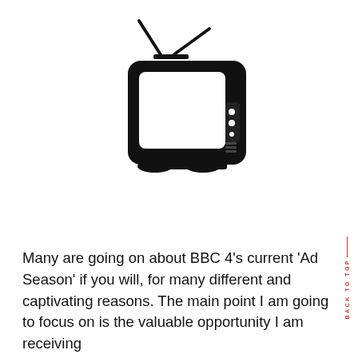[Figure (illustration): Black silhouette illustration of a vintage retro television set with two antennas on top, a large rectangular screen, and control knobs on the right side.]
Many are going on about BBC 4's current 'Ad Season' if you will, for many different and captivating reasons. The main point I am going to focus on is the valuable opportunity I am receiving